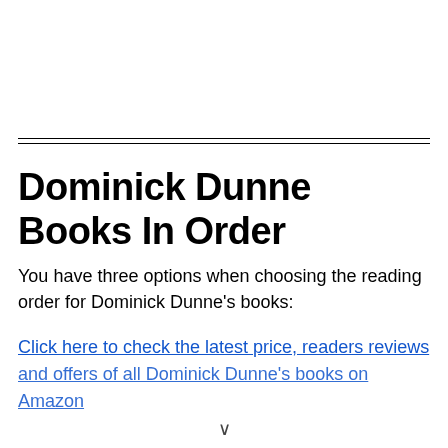Dominick Dunne Books In Order
You have three options when choosing the reading order for Dominick Dunne's books:
Click here to check the latest price, readers reviews and offers of all Dominick Dunne's books on Amazon